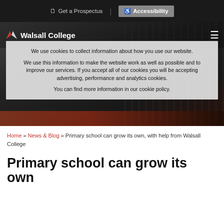Get a Prospectus  |  Accessibility
[Figure (screenshot): Walsall College website header with logo and hamburger menu over a dark building background photo]
We use cookies to collect information about how you use our website.
We use this information to make the website work as well as possible and to improve our services. If you accept all of our cookies you will be accepting advertising, performance and analytics cookies.
You can find more information in our cookie policy.
Home » News & Blog » Primary school can grow its own, with help from Walsall College
Primary school can grow its own